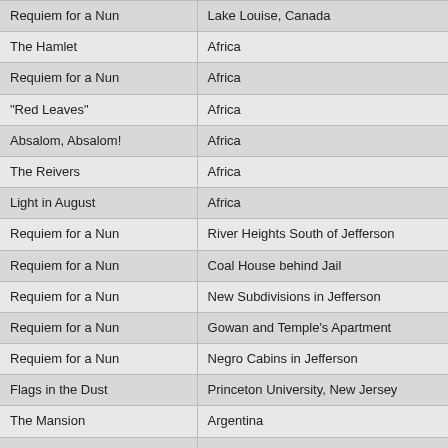| Requiem for a Nun | Lake Louise, Canada |
| The Hamlet | Africa |
| Requiem for a Nun | Africa |
| "Red Leaves" | Africa |
| Absalom, Absalom! | Africa |
| The Reivers | Africa |
| Light in August | Africa |
| Requiem for a Nun | River Heights South of Jefferson |
| Requiem for a Nun | Coal House behind Jail |
| Requiem for a Nun | New Subdivisions in Jefferson |
| Requiem for a Nun | Gowan and Temple's Apartment |
| Requiem for a Nun | Negro Cabins in Jefferson |
| Flags in the Dust | Princeton University, New Jersey |
| The Mansion | Argentina |
| "Knight's Gambit" | Argentina |
| "Knight's Gambit" | Gulf of Mexico |
| "Knight's Gambit" | Vienna, Austria |